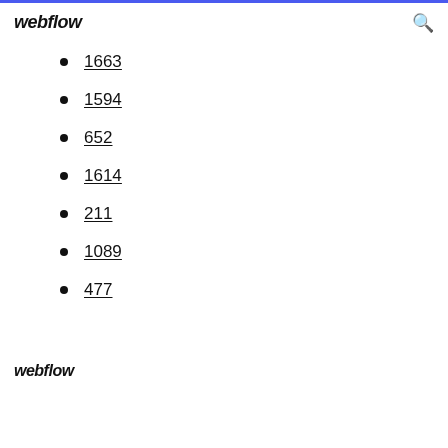webflow
1663
1594
652
1614
211
1089
477
webflow